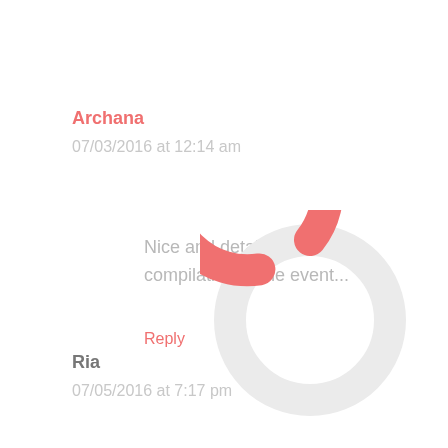Archana
07/03/2016 at 12:14 am
Nice and detailed compilation of the event...
Reply
[Figure (donut-chart): Partial donut/loading spinner chart overlaid on the comment section, showing a salmon/red arc on the left portion against a light gray full ring background.]
Ria
07/05/2016 at 7:17 pm